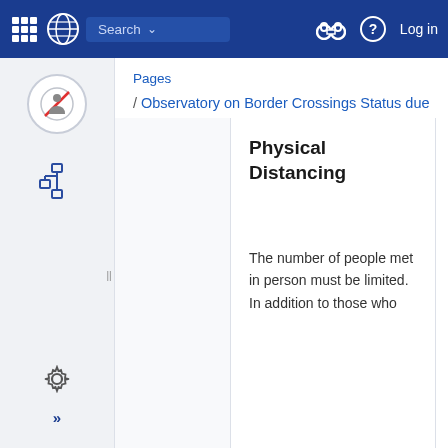[Figure (screenshot): Top navigation bar with grid icon, UN logo, search box, binoculars icon, question mark icon, and Log in link on dark blue background]
[Figure (screenshot): Left sidebar with circular icon showing no-entry/person symbol, tree/hierarchy icon, gear settings icon, and double-arrow expand icon]
Pages
/ Observatory on Border Crossings Status due to COVID-19 Home
Physical Distancing
The number of people met in person must be limited. In addition to those who